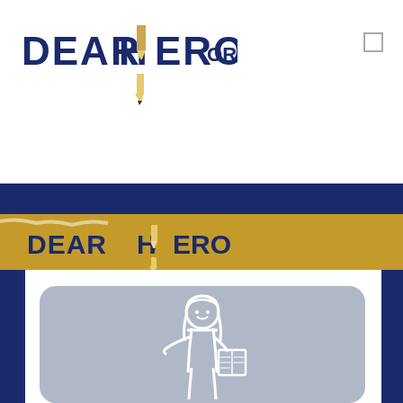[Figure (logo): DearHero.org logo with pencil icon in dark navy and gold/tan colors, top navigation bar]
[Figure (logo): DearHero logo on gold banner with pencil icon, navy text on gold/yellow brushstroke background]
[Figure (illustration): White outline illustration of a female teacher/person holding a book on a gray-blue rounded rectangle card]